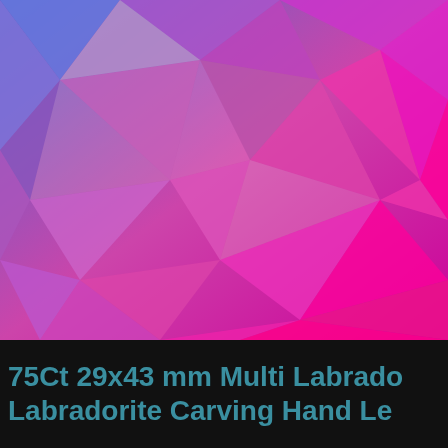[Figure (illustration): Abstract low-poly geometric background with triangular facets in purple, violet, magenta, and pink tones, creating a crystalline mosaic pattern.]
75Ct 29x43 mm Multi Labradorite Carving Hand Le